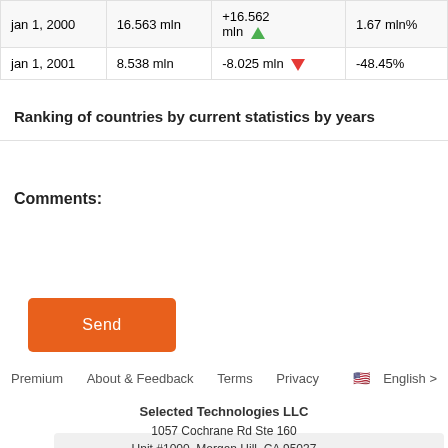| Date | Value | Change | % Change |
| --- | --- | --- | --- |
| jan 1, 2000 | 16.563 mln | +16.562 mln ▲ | 1.67 mln% |
| jan 1, 2001 | 8.538 mln | -8.025 mln ▼ | -48.45% |
Ranking of countries by current statistics by years
Comments:
[Figure (screenshot): Message input box with placeholder text 'Write a message..' and an overlaid stacked-layers logo icon]
[Figure (illustration): Orange 'Send' button]
Premium   About & Feedback   Terms   Privacy   🇺🇸 English >
Selected Technologies LLC
1057 Cochrane Rd Ste 160
Unit #1000, Morgan Hill, CA 95037